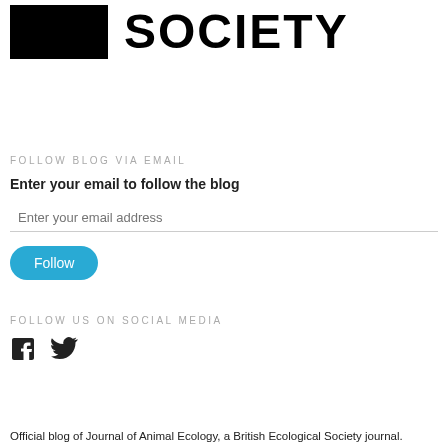[Figure (logo): British Ecological Society logo: black rectangle on left, bold text SOCIETY on right]
FOLLOW BLOG VIA EMAIL
Enter your email to follow the blog
Enter your email address
Follow
FOLLOW US ON SOCIAL MEDIA
[Figure (illustration): Facebook and Twitter social media icons]
Official blog of Journal of Animal Ecology, a British Ecological Society journal.